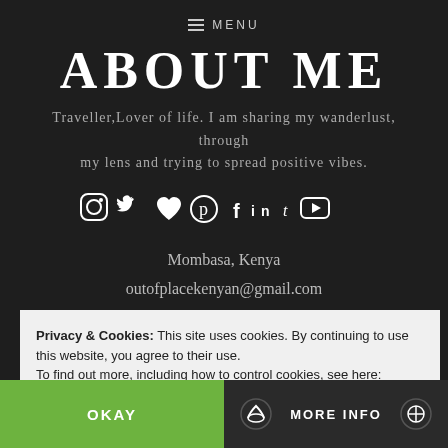≡ MENU
ABOUT ME
Traveller,Lover of life. I am sharing my wanderlust, through my lens and trying to spread positive vibes.
[Figure (infographic): Row of social media icons: Instagram, Twitter, heart/Bloglovin, Pinterest, Facebook, LinkedIn, Tumblr, YouTube]
Mombasa, Kenya
outofplacekenyan@gmail.com
Privacy & Cookies: This site uses cookies. By continuing to use this website, you agree to their use.
To find out more, including how to control cookies, see here: Cookie Policy
This website uses cookies
OKAY
MORE INFO